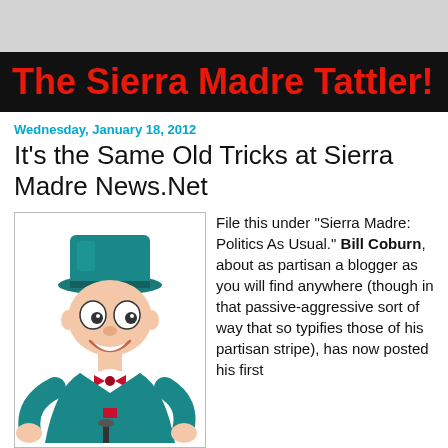The Sierra Madre Tattler!
Wednesday, January 18, 2012
It's the Same Old Tricks at Sierra Madre News.Net
[Figure (illustration): Cartoon illustration of a cheerful man in a teal top hat and teal suit, holding a cane, with a bow tie, smiling with big round eyes.]
File this under "Sierra Madre: Politics As Usual." Bill Coburn, about as partisan a blogger as you will find anywhere (though in that passive-aggressive sort of way that so typifies those of his partisan stripe), has now posted his first